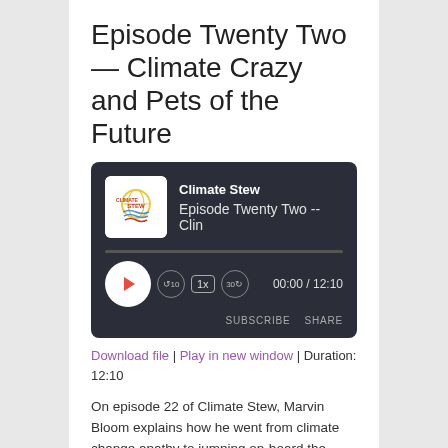Episode Twenty Two — Climate Crazy and Pets of the Future
[Figure (screenshot): Audio player widget for Climate Stew podcast, Episode Twenty Two -- Clim, showing play button, progress bar, skip controls (rewind 10s, 1x speed, forward 30s), time display 00:00 / 12:10, SUBSCRIBE and SHARE buttons.]
Download file | Play in new window | Duration: 12:10
On episode 22 of Climate Stew, Marvin Bloom explains how he went from climate change apathy to jumping on-board the global warming action bandwagon; warning–sappy love story ahead. We